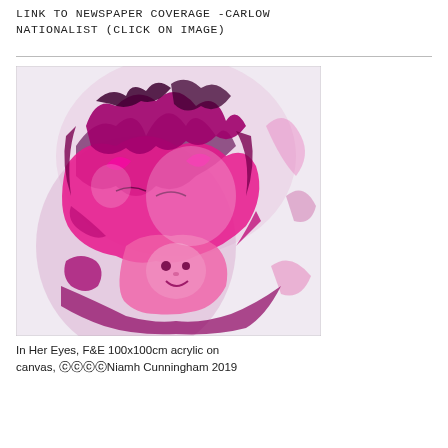LINK TO NEWSPAPER COVERAGE -CARLOW NATIONALIST (CLICK ON IMAGE)
[Figure (illustration): Artwork depicting a figure holding a baby, rendered in magenta/pink and deep purple tones on a light background. Abstract expressionist style painting.]
In Her Eyes, F&E 100x100cm acrylic on canvas, ©©©©Niamh Cunningham 2019